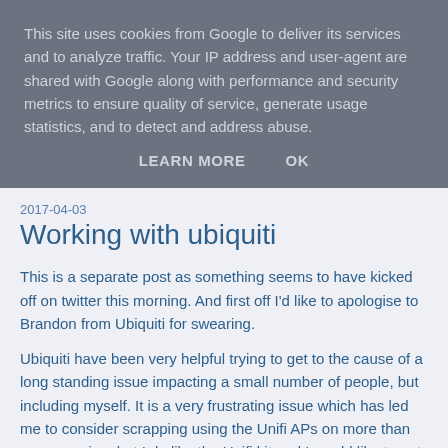This site uses cookies from Google to deliver its services and to analyze traffic. Your IP address and user-agent are shared with Google along with performance and security metrics to ensure quality of service, generate usage statistics, and to detect and address abuse.
LEARN MORE   OK
2017-04-03
Working with ubiquiti
This is a separate post as something seems to have kicked off on twitter this morning. And first off I'd like to apologise to Brandon from Ubiquiti for swearing.
Ubiquiti have been very helpful trying to get to the cause of a long standing issue impacting a small number of people, but including myself. It is a very frustrating issue which has led me to consider scrapping using the Unifi APs on more than one occasion, but I do like the Unifi kit and I would like to get this actually resolved and continue selling it.